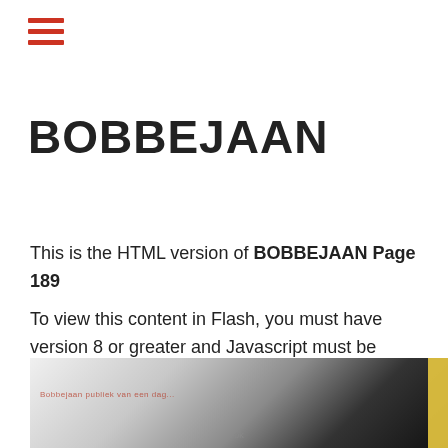[Figure (other): Hamburger menu icon — three horizontal red bars]
BOBBEJAAN
This is the HTML version of BOBBEJAAN Page 189
To view this content in Flash, you must have version 8 or greater and Javascript must be enabled. To download the last Flash player click here
[Figure (photo): Close-up photo of what appears to be a car interior or metallic curved surface, dark background with white/silver curved shape, small text overlay and 'ok' text visible]